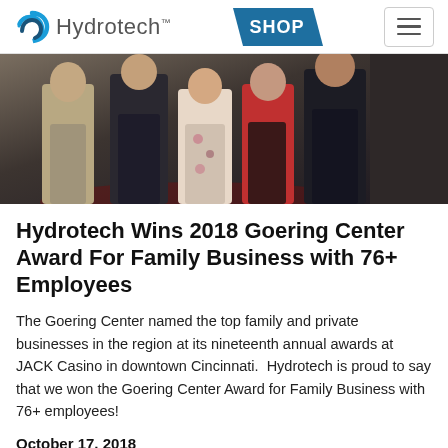Hydrotech SHOP [navigation]
[Figure (photo): Group of people standing together at an awards event, dressed in formal attire, at JACK Casino in Cincinnati.]
Hydrotech Wins 2018 Goering Center Award For Family Business with 76+ Employees
The Goering Center named the top family and private businesses in the region at its nineteenth annual awards at JACK Casino in downtown Cincinnati.  Hydrotech is proud to say that we won the Goering Center Award for Family Business with 76+ employees!
October 17, 2018